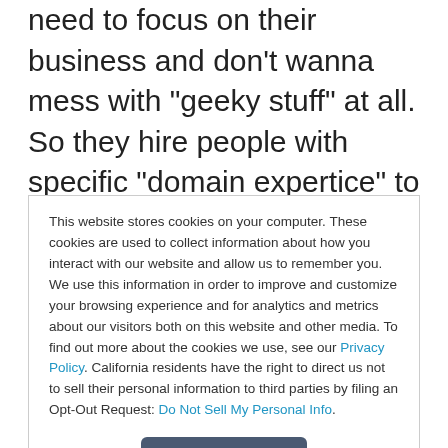need to focus on their business and don't wanna mess with "geeky stuff" at all. So they hire people with specific "domain expertice" to do the needed tasks. My initial impression is that Apple may not understand how small businesses actually operate. Do they expect that folks like lawyers and accountants are gonna spend their most critical resource, their own time, on learning how
This website stores cookies on your computer. These cookies are used to collect information about how you interact with our website and allow us to remember you. We use this information in order to improve and customize your browsing experience and for analytics and metrics about our visitors both on this website and other media. To find out more about the cookies we use, see our Privacy Policy. California residents have the right to direct us not to sell their personal information to third parties by filing an Opt-Out Request: Do Not Sell My Personal Info.
Accept